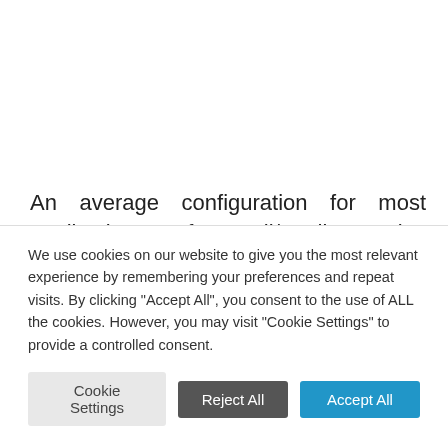An average configuration for most applications of small/medium size consists of 8 reserved cloudlets of 768Mb and 1.2GHZ, 2 nodes in balance with 256MB of Memcached, and 1.6Ghz 1Gb of
We use cookies on our website to give you the most relevant experience by remembering your preferences and repeat visits. By clicking "Accept All", you consent to the use of ALL the cookies. However, you may visit "Cookie Settings" to provide a controlled consent.